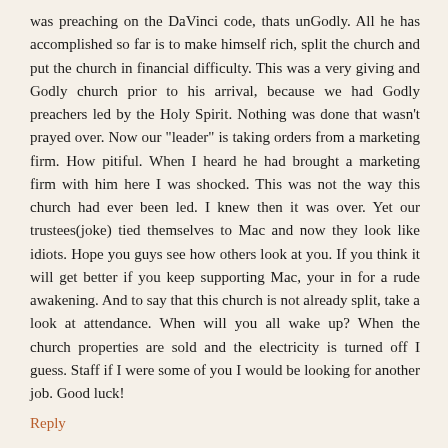was preaching on the DaVinci code, thats unGodly. All he has accomplished so far is to make himself rich, split the church and put the church in financial difficulty. This was a very giving and Godly church prior to his arrival, because we had Godly preachers led by the Holy Spirit. Nothing was done that wasn't prayed over. Now our "leader" is taking orders from a marketing firm. How pitiful. When I heard he had brought a marketing firm with him here I was shocked. This was not the way this church had ever been led. I knew then it was over. Yet our trustees(joke) tied themselves to Mac and now they look like idiots. Hope you guys see how others look at you. If you think it will get better if you keep supporting Mac, your in for a rude awakening. And to say that this church is not already split, take a look at attendance. When will you all wake up? When the church properties are sold and the electricity is turned off I guess. Staff if I were some of you I would be looking for another job. Good luck!
Reply
Anonymous October 29, 2008 at 8:52 PM
Anon 8:24.